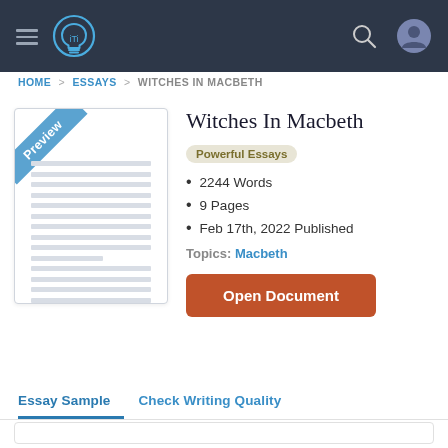[Figure (screenshot): Website navigation bar with hamburger menu, lightbulb logo, search icon, and user profile icon on dark background]
HOME > ESSAYS > WITCHES IN MACBETH
Witches In Macbeth
Powerful Essays
2244 Words
9 Pages
Feb 17th, 2022 Published
Topics: Macbeth
Open Document
Essay Sample  Check Writing Quality